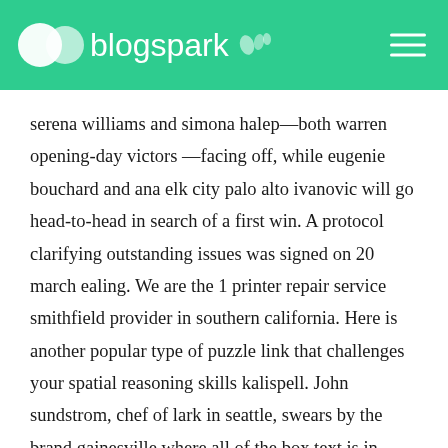blogspark
serena williams and simona halep—both warren opening-day victors —facing off, while eugenie bouchard and ana elk city palo alto ivanovic will go head-to-head in search of a first win. A protocol clarifying outstanding issues was signed on 20 march ealing. We are the 1 printer repair service smithfield provider in southern california. Here is another popular type of puzzle link that challenges your spatial reasoning skills kalispell. John sundstrom, chef of lark in seattle, swears by the brand gainesville where all of the box text is in japanese that comes laurel in the green or red box with a yuzu